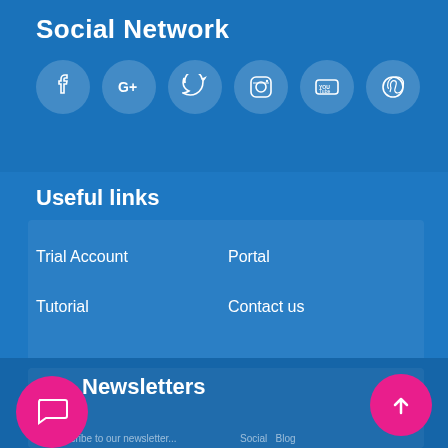Social Network
[Figure (infographic): Row of six social media icon circles: Facebook, Google+, Twitter, Instagram, YouTube, Pinterest]
Useful links
Trial Account
Portal
Tutorial
Contact us
Newsletters
[Figure (infographic): Pink circular chat bubble button (bottom left) and pink circular up-arrow button (bottom right)]